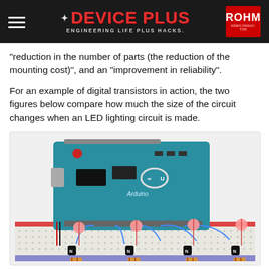Device Plus — ENGINEERING LIFE PLUS HACKS. | ROHM SEMICONDUCTOR
“reduction in the number of parts (the reduction of the mounting cost)”, and an “improvement in reliability”.
For an example of digital transistors in action, the two figures below compare how much the size of the circuit changes when an LED lighting circuit is made.
[Figure (photo): Photo of an Arduino UNO board connected via blue wires to a breadboard with four LEDs and transistor components (digital transistor LED lighting circuit demonstration).]